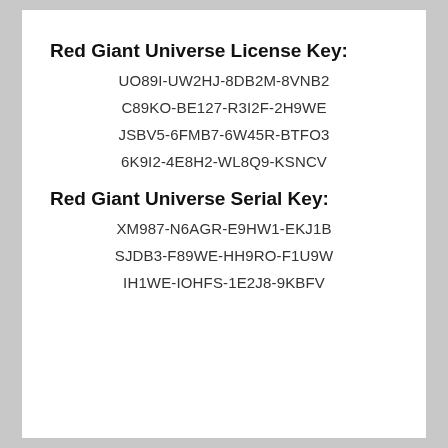Red Giant Universe License Key:
UO89I-UW2HJ-8DB2M-8VNB2
C89KO-BE127-R3I2F-2H9WE
JSBV5-6FMB7-6W45R-BTFO3
6K9I2-4E8H2-WL8Q9-KSNCV
Red Giant Universe Serial Key:
XM987-N6AGR-E9HW1-EKJ1B
SJDB3-F89WE-HH9RO-F1U9W
IH1WE-IOHFS-1E2J8-9KBFV